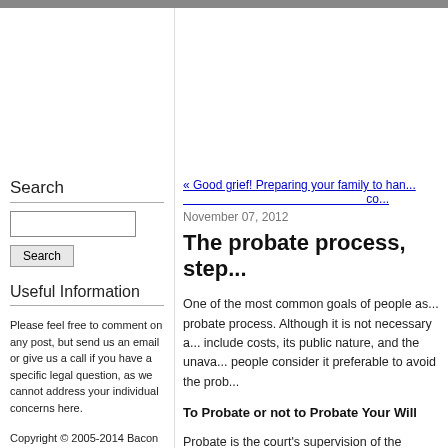« Good grief! Preparing your family to han... co...
November 07, 2012
The probate process, step...
One of the most common goals of people as... probate process. Although it is not necessary a... include costs, its public nature, and the unava... people consider it preferable to avoid the prob...
To Probate or not to Probate Your Will
Probate is the court's supervision of the proce... estate when you die to your beneficiaries. In s... will.
Any property that passes outside of your will...
Search
Useful Information
Please feel free to comment on any post, but send us an email or give us a call if you have a specific legal question, as we cannot address your individual concerns here.
Copyright © 2005-2014 Bacon Wilson, P.C.
Disclaimer